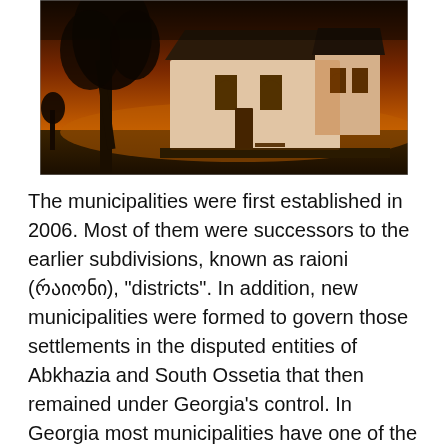[Figure (photo): A dramatic dusk/sunset photograph of a white church building with a dark pitched roof. A large bare tree is visible to the left silhouetted against an orange-dark sky. The church appears to be a historic stone or plaster structure with arched windows.]
The municipalities were first established in 2006. Most of them were successors to the earlier subdivisions, known as raioni (რაიონი), "districts". In addition, new municipalities were formed to govern those settlements in the disputed entities of Abkhazia and South Ossetia that then remained under Georgia's control. In Georgia most municipalities have one of the following forms of government: the strong mayor–council form, the weak mayor–council form, or the council-manager form. Under both the strong and the weak mayor–